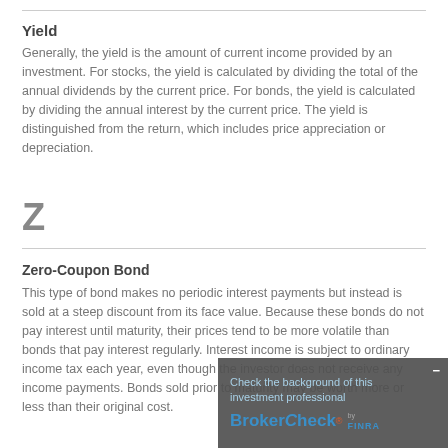Yield
Generally, the yield is the amount of current income provided by an investment. For stocks, the yield is calculated by dividing the total of the annual dividends by the current price. For bonds, the yield is calculated by dividing the annual interest by the current price. The yield is distinguished from the return, which includes price appreciation or depreciation.
Z
Zero-Coupon Bond
This type of bond makes no periodic interest payments but instead is sold at a steep discount from its face value. Because these bonds do not pay interest until maturity, their prices tend to be more volatile than bonds that pay interest regularly. Interest income is subject to ordinary income tax each year, even though the investor does not receive any income payments. Bonds sold prior to maturity may be worth more or less than their original cost.
[Figure (logo): BrokerCheck by FINRA overlay with link text 'Check the background of this investment professional']